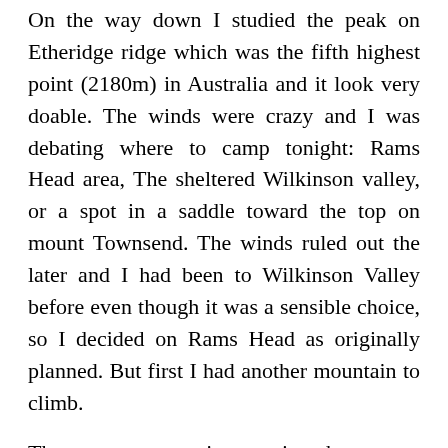On the way down I studied the peak on Etheridge ridge which was the fifth highest point (2180m) in Australia and it look very doable. The winds were crazy and I was debating where to camp tonight: Rams Head area, The sheltered Wilkinson valley, or a spot in a saddle toward the top on mount Townsend. The winds ruled out the later and I had been to Wilkinson Valley before even though it was a sensible choice, so I decided on Rams Head as originally planned. But first I had another mountain to climb.
There were some signs saying the area to the side of the toilet block, that was hidden discretely in the side of the mountain, was being regenerated. So I walked further down until the signs dissappeared then made my way straight up. When I reached the rocky area that formed the peak I dumped my pack and climbed the rest of the way in freedom. The wind was intense up there and I was loving the view but also telling